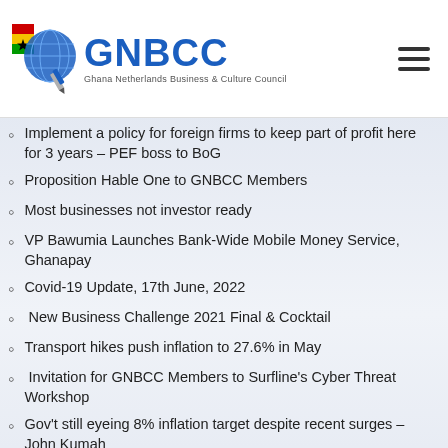GNBCC – Ghana Netherlands Business & Culture Council
Implement a policy for foreign firms to keep part of profit here for 3 years – PEF boss to BoG
Proposition Hable One to GNBCC Members
Most businesses not investor ready
VP Bawumia Launches Bank-Wide Mobile Money Service, Ghanapay
Covid-19 Update, 17th June, 2022
New Business Challenge 2021 Final & Cocktail
Transport hikes push inflation to 27.6% in May
Invitation for GNBCC Members to Surfline's Cyber Threat Workshop
Gov't still eyeing 8% inflation target despite recent surges – John Kumah
Hortifresh Close Out Event